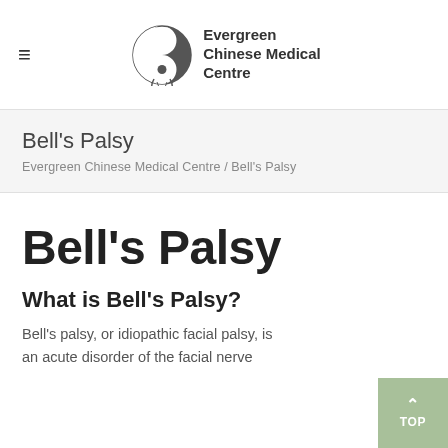[Figure (logo): Evergreen Chinese Medical Centre logo with yin-yang symbol and leaf motif]
Bell's Palsy
Evergreen Chinese Medical Centre / Bell's Palsy
Bell's Palsy
What is Bell's Palsy?
Bell's palsy, or idiopathic facial palsy, is an acute disorder of the facial nerve